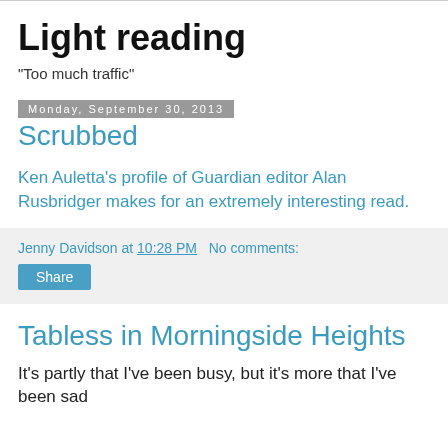Light reading
"Too much traffic"
Monday, September 30, 2013
Scrubbed
Ken Auletta's profile of Guardian editor Alan Rusbridger makes for an extremely interesting read.
Jenny Davidson at 10:28 PM   No comments:
Share
Tabless in Morningside Heights
It's partly that I've been busy, but it's more that I've been sad